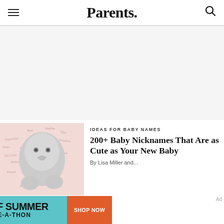Parents.
[Figure (photo): Black and white photo of a smiling baby on a pink background with baby nickname words written around it]
IDEAS FOR BABY NAMES
200+ Baby Nicknames That Are as Cute as Your New Baby
By Lisa Miller and...
[Figure (infographic): End of Summer Sale-A-Thon advertisement banner with pink, teal, and orange sections. Get up to an EXTRA 50% OFF. SHOP NOW button.]